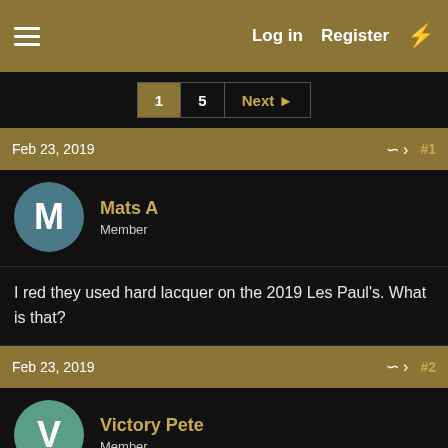Log in  Register
1  5  Next
Feb 23, 2019  #1
Mats A
Member
I red they used hard lacquer on the 2019 Les Paul's. What is that?
Feb 23, 2019  #2
Victory Pete
Member
Mats A said: